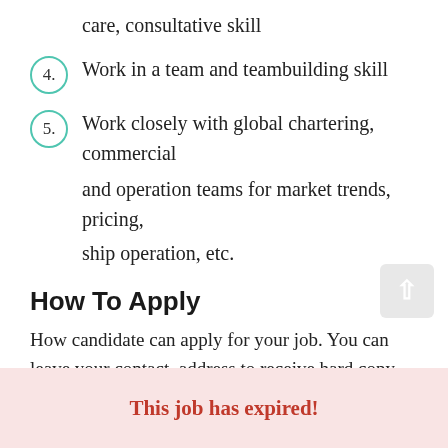care, consultative skill
4. Work in a team and teambuilding skill
5. Work closely with global chartering, commercial and operation teams for market trends, pricing, ship operation, etc.
How To Apply
How candidate can apply for your job. You can leave your contact, address to receive hard copy application
This job has expired!